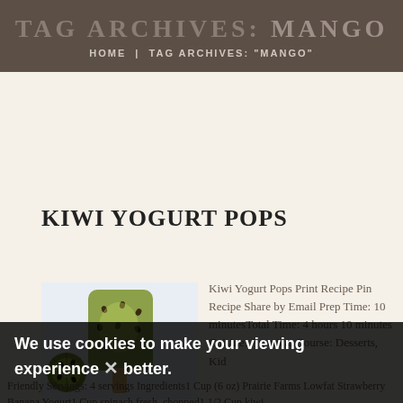TAG ARCHIVES: MANGO | HOME | TAG ARCHIVES: "MANGO"
KIWI YOGURT POPS
[Figure (photo): Photo of kiwi yogurt popsicle on a stick with kiwi slices]
Kiwi Yogurt Pops Print Recipe Pin Recipe Share by Email Prep Time: 10 minutesTotal Time: 4 hours 10 minutes Cuisine: AmericanCourse: Desserts, Kid Friendly Servings: 4 servings Ingredients1 Cup (6 oz) Prairie Farms Lowfat Strawberry Banana Yogurt1 Cup spinach fresh, chopped1 1/2 Cup kiwi
We use cookies to make your viewing experience better.